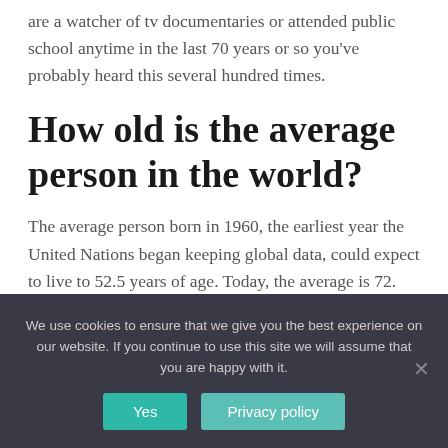are a watcher of tv documentaries or attended public school anytime in the last 70 years or so you've probably heard this several hundred times.
How old is the average person in the world?
The average person born in 1960, the earliest year the United Nations began keeping global data, could expect to live to 52.5 years of age. Today, the average is 72.
We use cookies to ensure that we give you the best experience on our website. If you continue to use this site we will assume that you are happy with it.